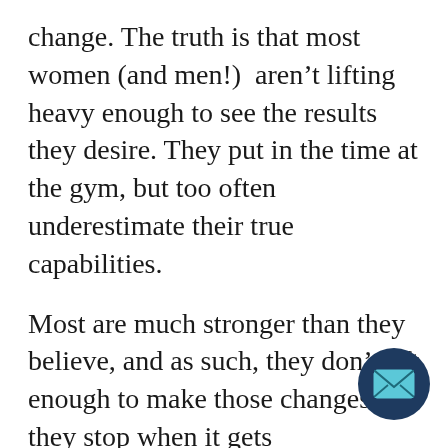change. The truth is that most women (and men!)  aren't lifting heavy enough to see the results they desire. They put in the time at the gym, but too often underestimate their true capabilities.
Most are much stronger than they believe, and as such, they don't lift enough to make those changes. Or, they stop when it gets uncomfortable. Essentially, they aren't creating enough of a challenge, and don't push themselves out of their comfort zone. But that's where change (and progress) happens!
If you finish a set and stop just because you reach a predetermined number of reps, chances are you aren't lifting heavy enough